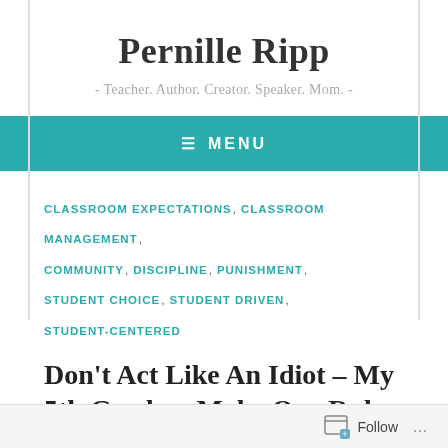Pernille Ripp
- Teacher. Author. Creator. Speaker. Mom. -
≡ MENU
CLASSROOM EXPECTATIONS, CLASSROOM MANAGEMENT, COMMUNITY, DISCIPLINE, PUNISHMENT, STUDENT CHOICE, STUDENT DRIVEN, STUDENT-CENTERED
Don't Act Like An Idiot – My 5th Graders Make Our Rules
January 13, 2014
Follow ...